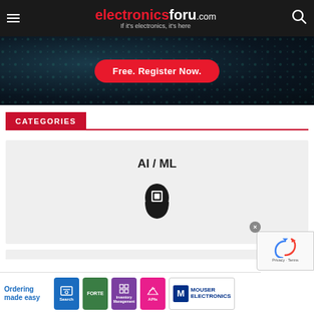electronicsforu.com — If it's electronics, it's here
[Figure (screenshot): Electronics forum banner ad with dark PCB circuit board background and a red rounded button reading 'Free. Register Now.']
CATEGORIES
[Figure (illustration): AI / ML category card showing a human head silhouette with a circuit chip inside, on a light gray background. Title: AI / ML]
[Figure (screenshot): Bottom advertisement banner: Ordering made easy — featuring icons for Search, Forte, Inventory Management, APIs, and Mouser Electronics logo]
[Figure (other): Partial reCAPTCHA widget visible at bottom right]